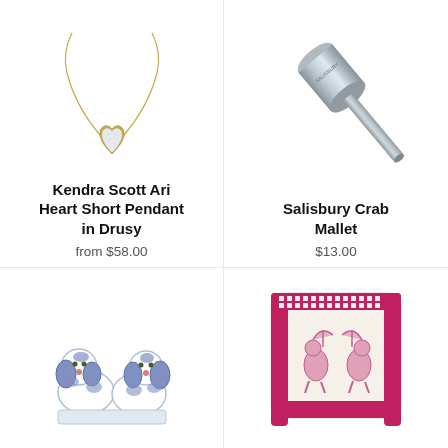[Figure (photo): Kendra Scott Ari heart short pendant necklace with gold chain and drusy heart pendant]
Kendra Scott Ari Heart Short Pendant in Drusy
from $58.00
[Figure (photo): Salisbury Crab Mallet - silver/chrome metal mallet tool]
Salisbury Crab Mallet
$13.00
[Figure (photo): Blue and white Staffordshire ceramic spaniel dog figurines]
[Figure (photo): Decorative needlepoint pillow with Greek key border in red/pink showing flamingo or bird design]